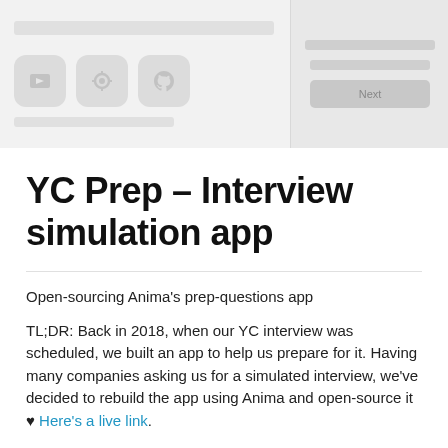[Figure (screenshot): Screenshot of a web app interface showing icons (chat, settings, GitHub) in a light grey UI with a right panel showing preview elements.]
YC Prep – Interview simulation app
Open-sourcing Anima's prep-questions app
TL;DR: Back in 2018, when our YC interview was scheduled, we built an app to help us prepare for it. Having many companies asking us for a simulated interview, we've decided to rebuild the app using Anima and open-source it ♥ Here's a live link.